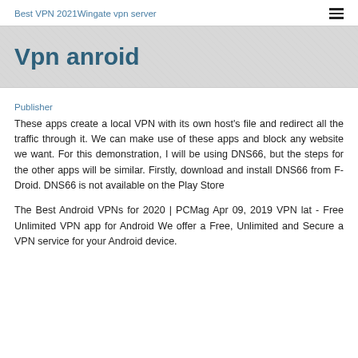Best VPN 2021Wingate vpn server
Vpn anroid
Publisher
These apps create a local VPN with its own host's file and redirect all the traffic through it. We can make use of these apps and block any website we want. For this demonstration, I will be using DNS66, but the steps for the other apps will be similar. Firstly, download and install DNS66 from F-Droid. DNS66 is not available on the Play Store
The Best Android VPNs for 2020 | PCMag Apr 09, 2019 VPN lat - Free Unlimited VPN app for Android We offer a Free, Unlimited and Secure a VPN service for your Android device.